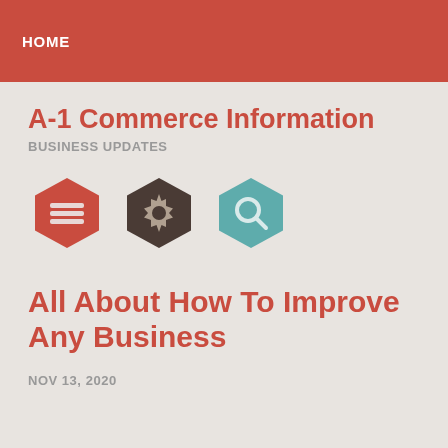HOME
A-1 Commerce Information
BUSINESS UPDATES
[Figure (illustration): Three hexagon icons: red menu/list icon, dark brown gear/settings icon, teal search/magnifying glass icon]
All About How To Improve Any Business
NOV 13, 2020